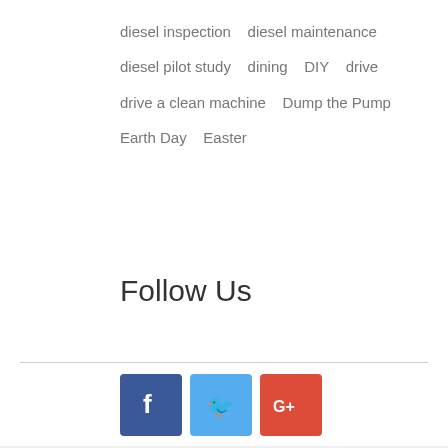diesel inspection   diesel maintenance   diesel pilot study   dining   DIY   drive   drive a clean machine   Dump the Pump   Earth Day   Easter
Follow Us
[Figure (infographic): Social media icons: Facebook (blue), Twitter (light blue), Google+ (red)]